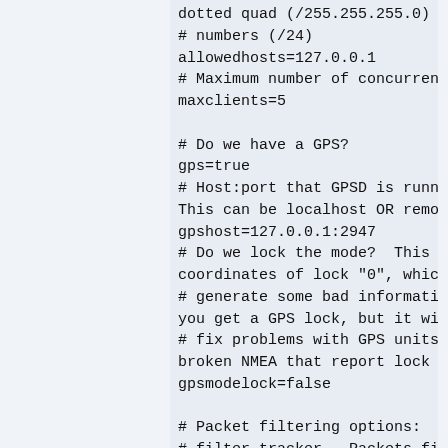dotted quad (/255.255.255.0) or as
# numbers (/24)
allowedhosts=127.0.0.1
# Maximum number of concurrent GUI's
maxclients=5

# Do we have a GPS?
gps=true
# Host:port that GPSD is running on.
This can be localhost OR remote!
gpshost=127.0.0.1:2947
# Do we lock the mode?  This overrides
coordinates of lock "0", which will
# generate some bad information until
you get a GPS lock, but it will
# fix problems with GPS units with
broken NMEA that report lock 0
gpsmodelock=false

# Packet filtering options:
# filter_tracker - Packets filtered
from the tracker are not processed or
#                 recorded in any way.
# filter_dump    - Packets filtered at
the dump level are tracked, displayed,
#                 and written to the
csv/xml/network/etc files, but not
#                 recorded in the